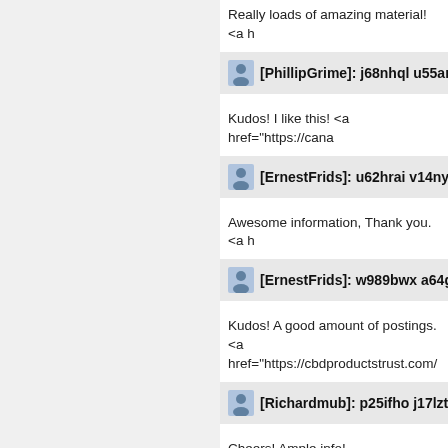Really loads of amazing material! <a h
[PhillipGrime]: j68nhql u55amb
Kudos! I like this! <a href="https://cana
[ErnestFrids]: u62hrai v14nys
Awesome information, Thank you. <a h
[ErnestFrids]: w989bwx a64gxk
Kudos! A good amount of postings.
<a href="https://cbdproductstrust.com/
[Richardmub]: p25ifho j17lzt
Cheers! Ample info!
<a href="https://cbd-oil-trust.com/">is c
[TyronePrurl]: h87udwh o26 o...